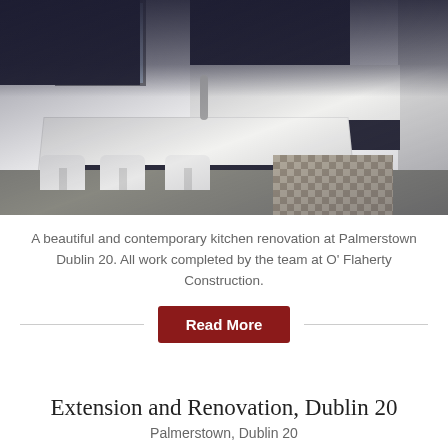[Figure (photo): A contemporary kitchen with dark navy/charcoal flat-panel cabinets, white quartz island countertop with a sink and faucet, white bar stools, decorative floor tiles, and white backsplash.]
A beautiful and contemporary kitchen renovation at Palmerstown Dublin 20. All work completed by the team at O' Flaherty Construction.
Read More
Extension and Renovation, Dublin 20
Palmerstown, Dublin 20